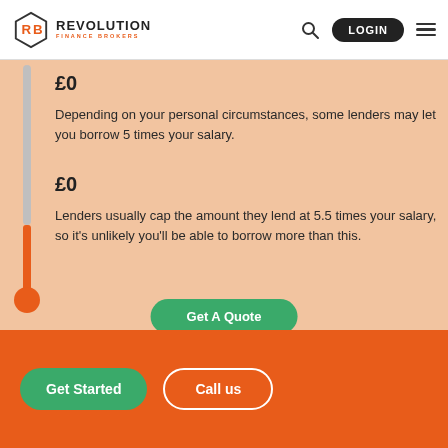[Figure (logo): Revolution Finance Brokers hexagonal logo with orange icon and text]
£0
Depending on your personal circumstances, some lenders may let you borrow 5 times your salary.
£0
Lenders usually cap the amount they lend at 5.5 times your salary, so it's unlikely you'll be able to borrow more than this.
Get A Quote
Get Started
Call us